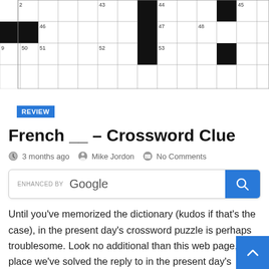[Figure (other): Partial crossword puzzle grid showing numbered squares including 2, 43, 44, 45, 46, 47, 48, 49, 50, 51, 52, 53 with black and white squares]
REVIEW
French __ – Crossword Clue
3 months ago   Mike Jordon   No Comments
[Figure (screenshot): Enhanced by Google search box with blue search button]
Until you've memorized the dictionary (kudos if that's the case), in the present day's crossword puzzle is perhaps troublesome. Look no additional than this web page, the place we've solved the reply to in the present day's crossword puzzle clue. It is perhaps apparent, or perhaps not. Regardless, we hope in the present day's puzzle has